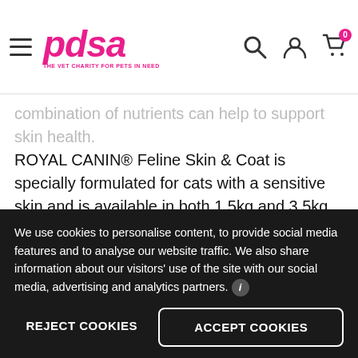PDSA - The Vet Charity for Pets in Need
combination of nutrients can help to support skin health. ROYAL CANIN® Feline Skin & Coat is specially formulated for cats with a sensitive skin and is available in both 1.5kg and 3.5kg bags. Formulated with a special complex of nutrients, ROYAL CANIN® Feline Skin & Coat helps to support the natural barrier role of your cat's skin. Omega-3 fatty acids – including EPA and DHA – are included in ROYAL CANIN® Feline Skin & Coat. These specific key nutrients help to support healthy skin they also contribute
We use cookies to personalise content, to provide social media features and to analyse our website traffic. We also share information about our visitors' use of the site with our social media, advertising and analytics partners.
REJECT COOKIES
ACCEPT COOKIES